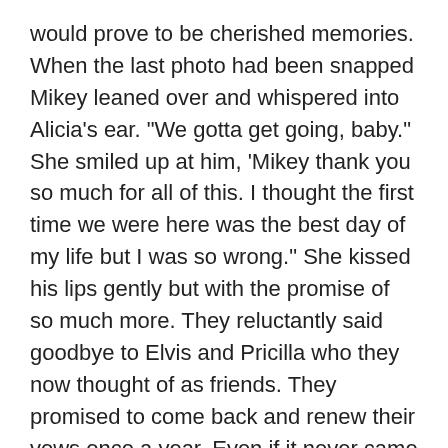would prove to be cherished memories. When the last photo had been snapped Mikey leaned over and whispered into Alicia's ear. "We gotta get going, baby." She smiled up at him, 'Mikey thank you so much for all of this. I thought the first time we were here was the best day of my life but I was so wrong." She kissed his lips gently but with the promise of so much more. They reluctantly said goodbye to Elvis and Pricilla who they now thought of as friends. They promised to come back and renew their vows once a year. Even if it never came to be, the promise was made with the best intentions. At the curb the white limo waited to take them to their hotel, it's engine gently purring. The driver opened the door and they got in waving goodbye. The luxury vehicle pulled out into traffic its driver obviously knowing their destination. Several minutes later Alicia was surprised when they pulled up in front of The Hard Rock Hotel and Casino." Why are we here?" Alicia asked. "I thought we were staying at the Billagio."